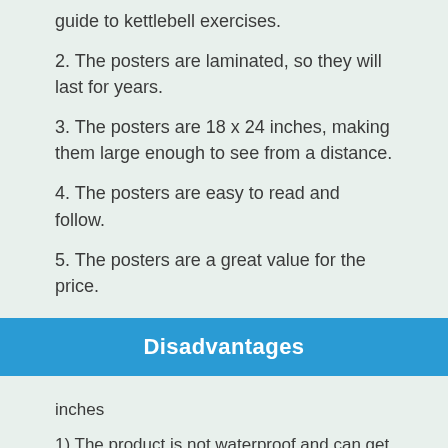guide to kettlebell exercises.
2. The posters are laminated, so they will last for years.
3. The posters are 18 x 24 inches, making them large enough to see from a distance.
4. The posters are easy to read and follow.
5. The posters are a great value for the price.
Disadvantages
inches
1) The product is not waterproof and can get damaged if it gets wet.
2) The product is not laminated and can get